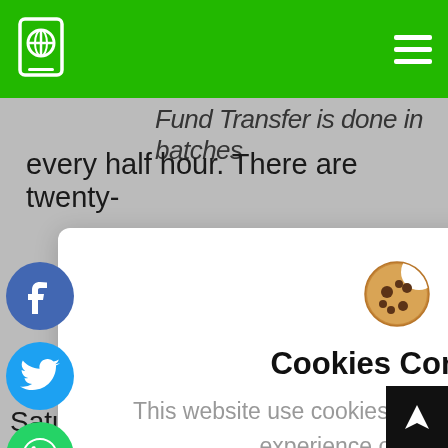[Figure (screenshot): Green navigation header with globe/phone icon logo on left and hamburger menu on right]
Fund Transfer is done in batches every half hour. There are twenty-
[Figure (infographic): Cookie consent modal popup with cookie emoji, title 'Cookies Consent', description text, 'I understand' button and 'Privacy Policy' link. Social share buttons (Facebook, Twitter, WhatsApp, close) on left side.]
Saturday, Sundays and Holidays.